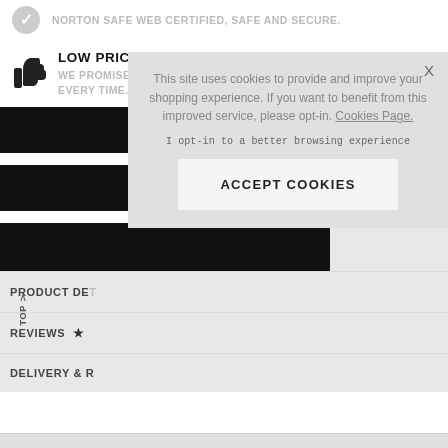NORTON SAFE WEB CERTIFIED, SAFE AND SECURE.
LOW PRICE GUARANTEE
WE PROMISE YOU THE LOWEST PRICE AVAILABLE EACH AND EVERY TIME.
ASK A QUESTION
EMAIL A FRIEND
PRODUCT DE...
REVIEWS ★
DELIVERY & R...
This site uses cookies to provide and improve your shopping experience. If you want to benefit from this improved service, please opt-in. Cookies Page.
I opt-in to a better browsing experience
ACCEPT COOKIES